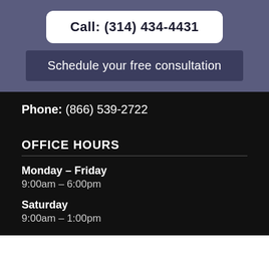Call: (314) 434-4431
Schedule your free consultation
Phone: (866) 539-2722
OFFICE HOURS
Monday – Friday
9:00am – 6:00pm
Saturday
9:00am – 1:00pm